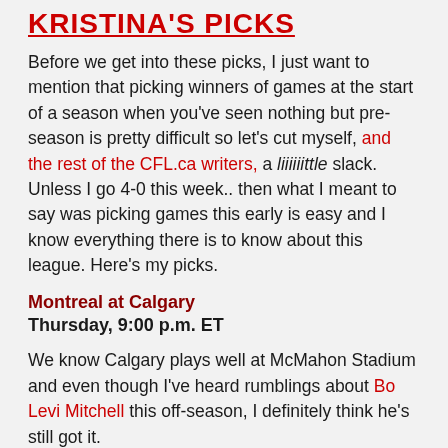KRISTINA'S PICKS
Before we get into these picks, I just want to mention that picking winners of games at the start of a season when you've seen nothing but pre-season is pretty difficult so let's cut myself, and the rest of the CFL.ca writers, a liiiiiittle slack. Unless I go 4-0 this week.. then what I meant to say was picking games this early is easy and I know everything there is to know about this league. Here's my picks.
Montreal at Calgary
Thursday, 9:00 p.m. ET
We know Calgary plays well at McMahon Stadium and even though I've heard rumblings about Bo Levi Mitchell this off-season, I definitely think he's still got it.